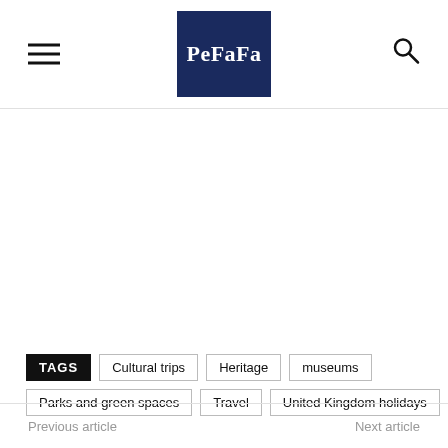PeFaFa
TAGS  Cultural trips  Heritage  museums  Parks and green spaces  Travel  United Kingdom holidays
Previous article  Next article